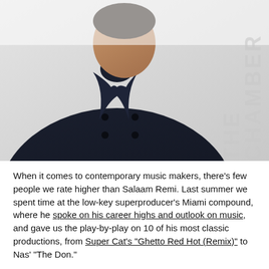[Figure (photo): A man wearing a dark navy double-breasted coat, facing slightly to the side, with a light background. Vertically oriented text on the right side reads 'THE CHAMBER'.]
When it comes to contemporary music makers, there's few people we rate higher than Salaam Remi. Last summer we spent time at the low-key superproducer's Miami compound, where he spoke on his career highs and outlook on music, and gave us the play-by-play on 10 of his most classic productions, from Super Cat's "Ghetto Red Hot (Remix)" to Nas' "The Don."